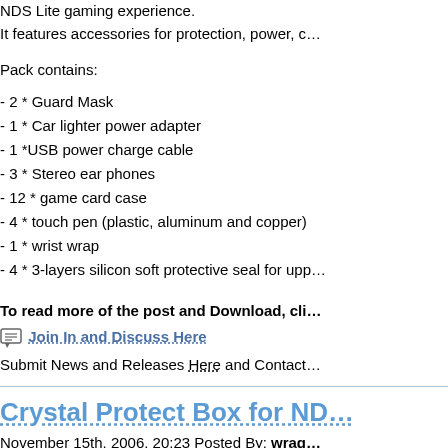NDS Lite gaming experience.
It features accessories for protection, power, c…
Pack contains:
- 2 * Guard Mask
- 1 * Car lighter power adapter
- 1 *USB power charge cable
- 3 * Stereo ear phones
- 12 * game card case
- 4 * touch pen (plastic, aluminum and copper)
- 1 * wrist wrap
- 4 * 3-layers silicon soft protective seal for upp…
To read more of the post and Download, cli…
Join In and Discuss Here
Submit News and Releases Here and Contact…
Crystal Protect Box for ND…
November 15th, 2006, 20:23 Posted By: wrag…
New from Divineo China
The Crystal Protect Box for Nintendo DS Lite c… Available in multiple colors, it is also a stylish c…